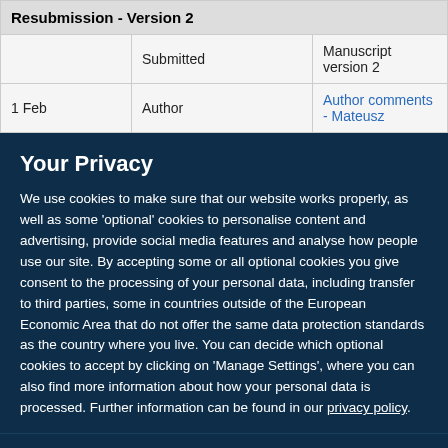|  | Submitted | Manuscript version 2 |
| --- | --- | --- |
| 1 Feb | Author | Author comments - Mateusz |
Your Privacy
We use cookies to make sure that our website works properly, as well as some 'optional' cookies to personalise content and advertising, provide social media features and analyse how people use our site. By accepting some or all optional cookies you give consent to the processing of your personal data, including transfer to third parties, some in countries outside of the European Economic Area that do not offer the same data protection standards as the country where you live. You can decide which optional cookies to accept by clicking on 'Manage Settings', where you can also find more information about how your personal data is processed. Further information can be found in our privacy policy.
Accept all cookies
Manage preferences